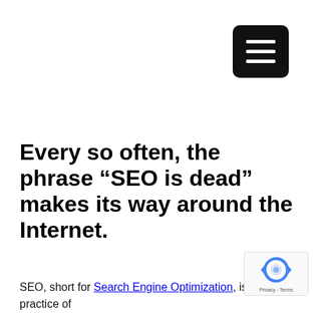[Figure (other): Dark rounded square hamburger menu icon with three white horizontal lines]
Every so often, the phrase “SEO is dead” makes its way around the Internet.
SEO, short for Search Engine Optimization, is the practice of
[Figure (other): Google reCAPTCHA badge with spinning arrows logo and Privacy - Terms text]